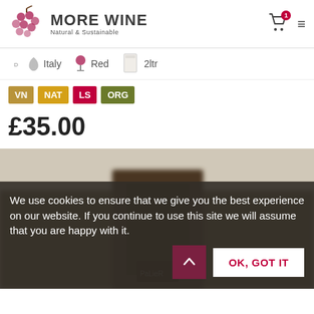[Figure (logo): More Wine logo with grape cluster icon and text 'MORE WINE Natural & Sustainable']
[Figure (infographic): Filter bar showing Italy (with boot icon), Red (with wine glass icon), 2ltr (with box icon)]
VN
NAT
LS
ORG
£35.00
[Figure (photo): Blurred photo of a wine cellar or shop interior with dark wooden door, partially obscured by cookie consent banner]
We use cookies to ensure that we give you the best experience on our website. If you continue to use this site we will assume that you are happy with it.
OK, GOT IT